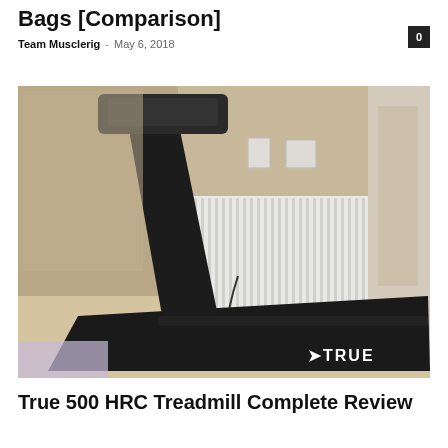Bags [Comparison]
Team Musclerig · May 6, 2018
[Figure (photo): A black TRUE 500 HRC treadmill standing in a home gym room with beige walls and white wainscoting. The treadmill is large and dark, with the TRUE brand logo visible on the base.]
True 500 HRC Treadmill Complete Review